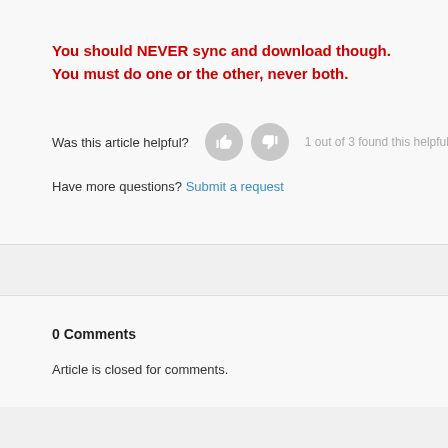You should NEVER sync and download though. You must do one or the other, never both.
Was this article helpful?  1 out of 3 found this helpful
Have more questions? Submit a request
0 Comments
Article is closed for comments.